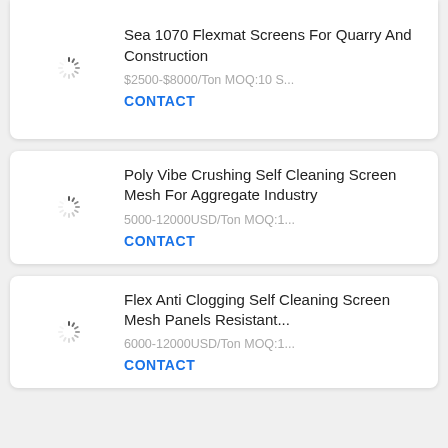[Figure (other): Loading spinner icon]
Sea 1070 Flexmat Screens For Quarry And Construction
$2500-$8000/Ton MOQ:10 S...
CONTACT
[Figure (other): Loading spinner icon]
Poly Vibe Crushing Self Cleaning Screen Mesh For Aggregate Industry
5000-12000USD/Ton MOQ:1...
CONTACT
[Figure (other): Loading spinner icon]
Flex Anti Clogging Self Cleaning Screen Mesh Panels Resistant...
6000-12000USD/Ton MOQ:1...
CONTACT